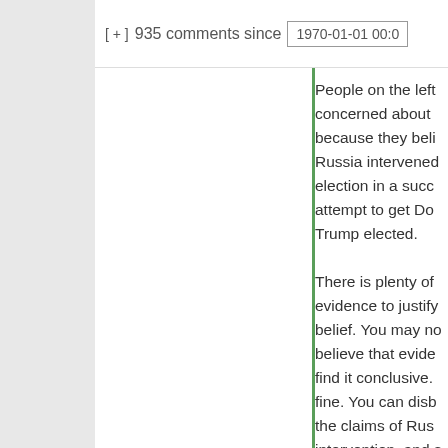[ + ]  935 comments since  1970-01-01 00:0
People on the left concerned about because they believed Russia intervened election in a successful attempt to get Donald Trump elected.

There is plenty of evidence to justify belief. You may not believe that evidence find it conclusive. That's fine. You can disbelieve the claims of Russian intervention, and still understand how s